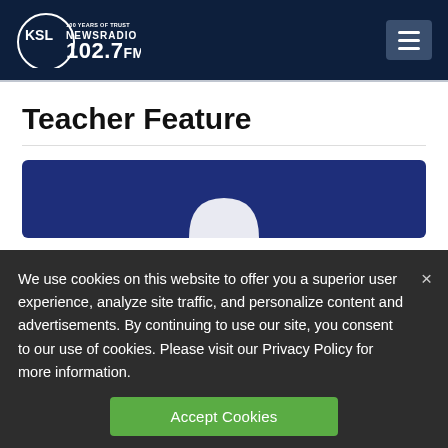KSL NewsRadio 102.7FM — 100 Years of Trust
Teacher Feature
[Figure (screenshot): Dark blue card area with a faint white icon shape visible at the top center]
We use cookies on this website to offer you a superior user experience, analyze site traffic, and personalize content and advertisements. By continuing to use our site, you consent to our use of cookies. Please visit our Privacy Policy for more information.
Accept Cookies